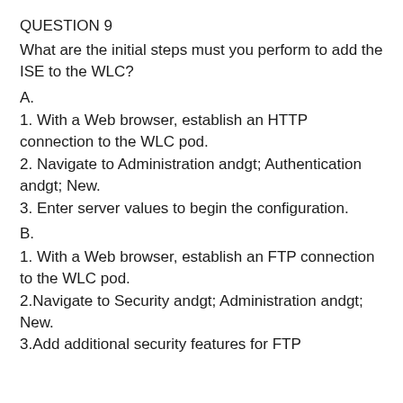QUESTION 9
What are the initial steps must you perform to add the ISE to the WLC?
A.
1. With a Web browser, establish an HTTP connection to the WLC pod.
2. Navigate to Administration andgt; Authentication andgt; New.
3. Enter server values to begin the configuration.
B.
1. With a Web browser, establish an FTP connection to the WLC pod.
2.Navigate to Security andgt; Administration andgt; New.
3.Add additional security features for FTP